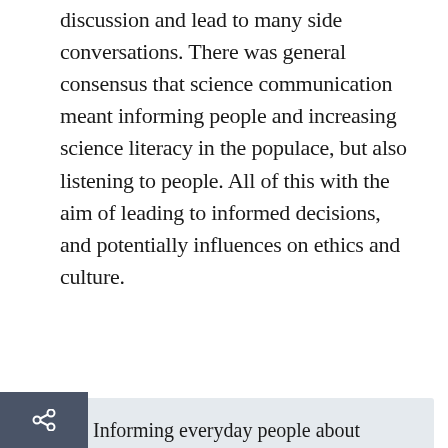discussion and lead to many side conversations. There was general consensus that science communication meant informing people and increasing science literacy in the populace, but also listening to people. All of this with the aim of leading to informed decisions, and potentially influences on ethics and culture.
A1: Informing everyday people about science so they can make informed decisions, rather than blindly follow hype & pseudoscience #SciCommNZ

— Matt Nicoll (@mattynicoll) March 11, 2015
A1 #SciCommNZ: scientists and the lay public not considering *either* party to be 'outside' society: a nation-wide collaboration of